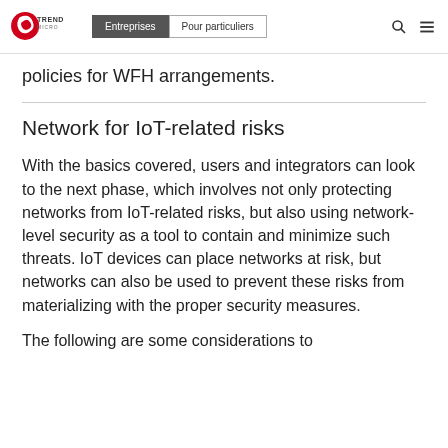Trend Micro | Entreprises | Pour particuliers
policies for WFH arrangements.
Network for IoT-related risks
With the basics covered, users and integrators can look to the next phase, which involves not only protecting networks from IoT-related risks, but also using network-level security as a tool to contain and minimize such threats. IoT devices can place networks at risk, but networks can also be used to prevent these risks from materializing with the proper security measures.
The following are some considerations to